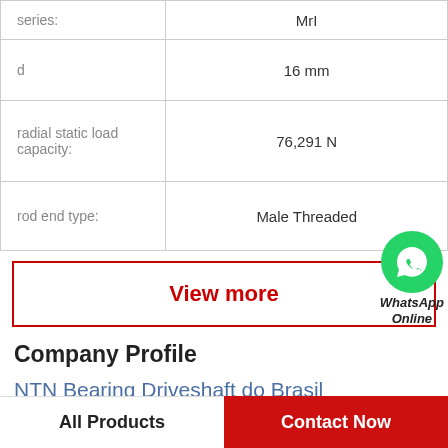| Property | Value |
| --- | --- |
| series: | MrI |
| d | 16 mm |
| radial static load capacity: | 76,291 N |
| rod end type: | Male Threaded |
View more
[Figure (logo): WhatsApp Online green circle badge with phone icon, text 'WhatsApp Online']
Company Profile
NTN Bearing Driveshaft do Brasil
Phone   2085-5211
All Products
Contact Now